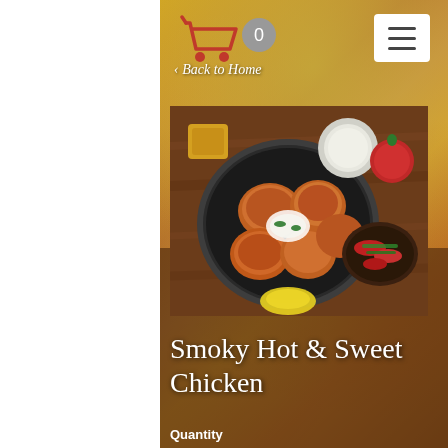[Figure (screenshot): Food app product page with sunflower background showing cart icon with 0, hamburger menu button, Back to Home link, a photo of smoky chicken dish in a skillet with vegetables, product title 'Smoky Hot & Sweet Chicken', and Quantity label]
Smoky Hot & Sweet Chicken
Quantity